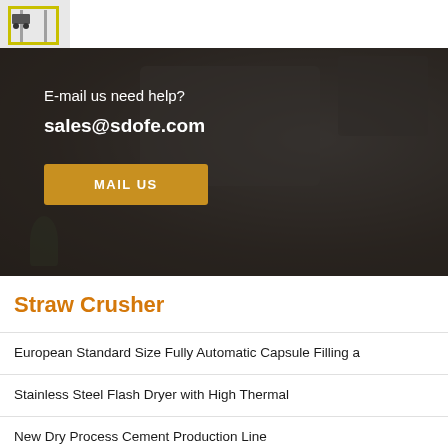[Figure (photo): Small thumbnail image of a yellow industrial rack or shelf structure, cropped in top-left corner]
[Figure (photo): Dark-toned banner image showing a laptop and monitor on a desk with plants, overlaid with email contact information and a MAIL US button]
E-mail us need help?
sales@sdofe.com
MAIL US
Straw Crusher
European Standard Size Fully Automatic Capsule Filling a
Stainless Steel Flash Dryer with High Thermal
New Dry Process Cement Production Line